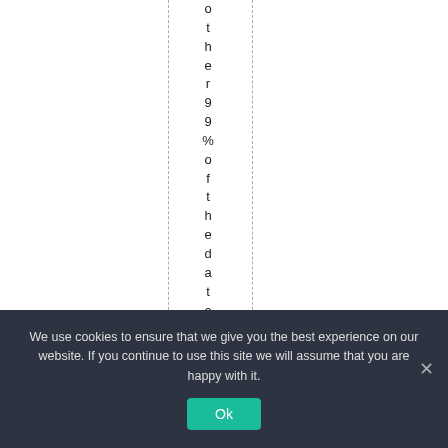other99% of the data .
We use cookies to ensure that we give you the best experience on our website. If you continue to use this site we will assume that you are happy with it. Ok